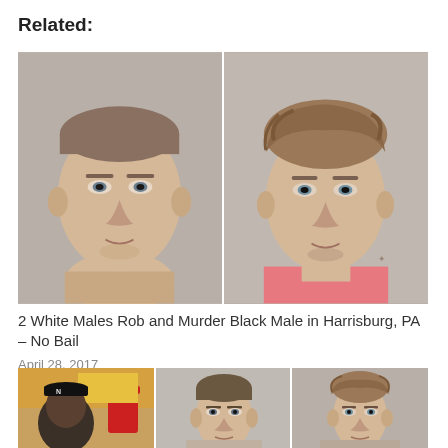Related:
[Figure (photo): Composite mugshot photo of two young white males side by side against gray backgrounds]
2 White Males Rob and Murder Black Male in Harrisburg, PA – No Bail
April 28, 2017
In "Crime"
[Figure (photo): Composite photo showing three individuals: one wearing a black cap in a casual setting, and two mugshot-style photos of young males against gray backgrounds]